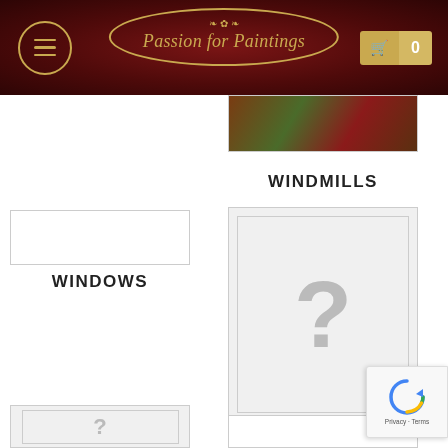[Figure (screenshot): Website header with dark red/maroon background, hamburger menu icon in gold circle on left, 'Passion for Paintings' brand logo in gold italic script inside oval border in center, shopping cart icon with count '0' on right]
[Figure (photo): Partial painting image showing colorful landscape with dark greens and reds, part of Windmills category card]
WINDMILLS
[Figure (other): Empty white card placeholder for Windows category]
WINDOWS
[Figure (other): Gray placeholder card with question mark for Palaces category]
PALACES
[Figure (other): Partial gray placeholder card at bottom left]
[Figure (other): Partial white card at bottom right]
[Figure (other): reCAPTCHA badge with spinning arrows icon and 'Privacy - Terms' text]